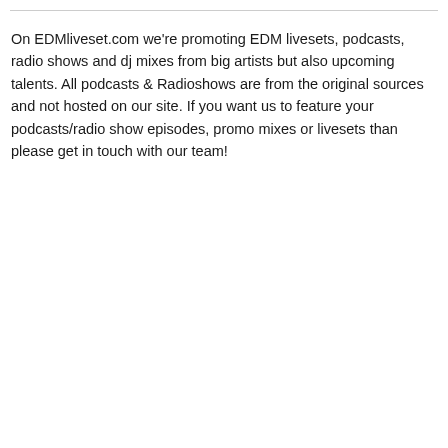On EDMliveset.com we're promoting EDM livesets, podcasts, radio shows and dj mixes from big artists but also upcoming talents. All podcasts & Radioshows are from the original sources and not hosted on our site. If you want us to feature your podcasts/radio show episodes, promo mixes or livesets than please get in touch with our team!